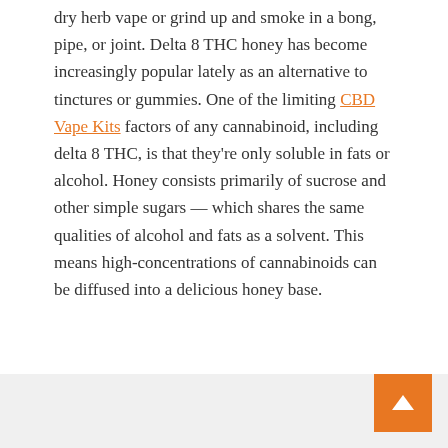dry herb vape or grind up and smoke in a bong, pipe, or joint. Delta 8 THC honey has become increasingly popular lately as an alternative to tinctures or gummies. One of the limiting CBD Vape Kits factors of any cannabinoid, including delta 8 THC, is that they're only soluble in fats or alcohol. Honey consists primarily of sucrose and other simple sugars — which shares the same qualities of alcohol and fats as a solvent. This means high-concentrations of cannabinoids can be diffused into a delicious honey base.
UNCATEGORIZED
Leave a Comment